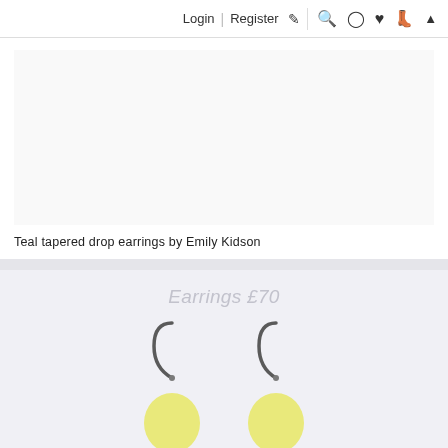Login | Register 🖊 🔍 👤 ♥ 🛍 ▲
Teal tapered drop earrings by Emily Kidson
Earrings £70
[Figure (photo): Yellow/lemon drop earrings with silver hook wires, partially visible at bottom of page]